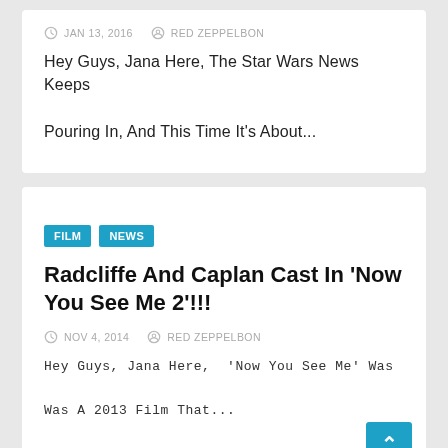JAN 13, 2016  RED ZEPPELBON
Hey Guys, Jana Here, The Star Wars News Keeps Pouring In, And This Time It's About...
FILM
NEWS
Radcliffe And Caplan Cast In 'Now You See Me 2'!!!
NOV 4, 2014  RED ZEPPELBON
Hey Guys, Jana Here,  'Now You See Me' Was Was A 2013 Film That...